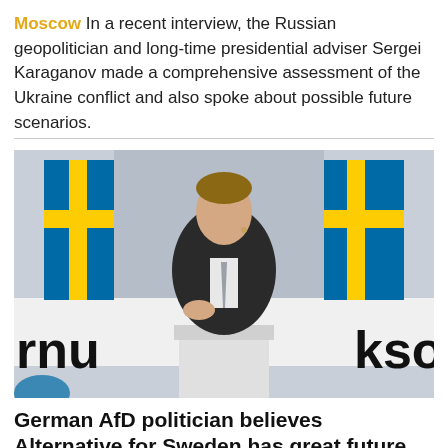Moscow In a recent interview, the Russian geopolitician and long-time presidential adviser Sergei Karaganov made a comprehensive assessment of the Ukraine conflict and also spoke about possible future scenarios.
[Figure (photo): A man in a dark suit speaking at a podium with Swedish flags in the background. Partial text visible on a banner reads 'rnu' and 'kso'.]
German AfD politician believes Alternative for Sweden has great future potential